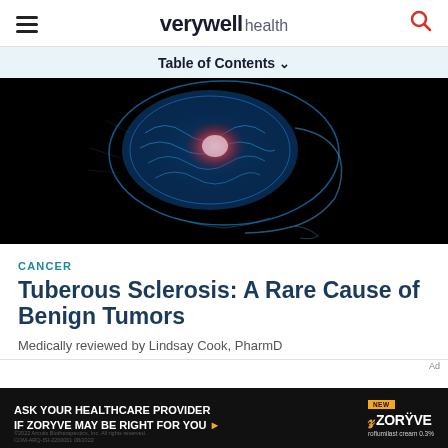verywell health
Table of Contents
[Figure (photo): Medical illustration of a human brain cross-section shown in glowing blue X-ray style against a black background, with a highlighted red/pink area indicating a tumor or lesion in the center of the brain.]
CANCER
Tuberous Sclerosis: A Rare Cause of Benign Tumors
Medically reviewed by Lindsay Cook, PharmD
[Figure (other): Advertisement banner: ASK YOUR HEALTHCARE PROVIDER IF ZORYVE MAY BE RIGHT FOR YOU. ZORYVE roflumilast cream 0.3%]